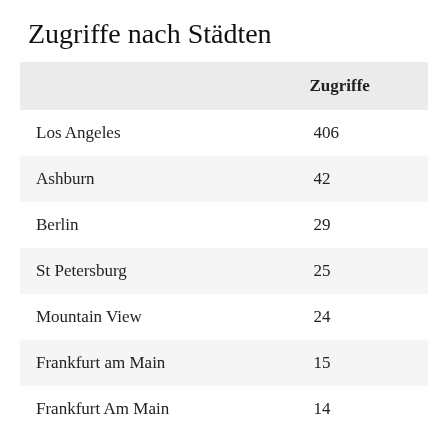Zugriffe nach Städten
|  | Zugriffe |
| --- | --- |
| Los Angeles | 406 |
| Ashburn | 42 |
| Berlin | 29 |
| St Petersburg | 25 |
| Mountain View | 24 |
| Frankfurt am Main | 15 |
| Frankfurt Am Main | 14 |